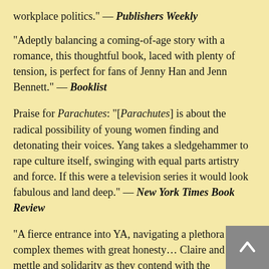workplace politics." — Publishers Weekly
"Adeptly balancing a coming-of-age story with a romance, this thoughtful book, laced with plenty of tension, is perfect for fans of Jenny Han and Jenn Bennett." — Booklist
Praise for Parachutes: "[Parachutes] is about the radical possibility of young women finding and detonating their voices. Yang takes a sledgehammer to rape culture itself, swinging with equal parts artistry and force. If this were a television series it would look fabulous and land deep." — New York Times Book Review
"A fierce entrance into YA, navigating a plethora of complex themes with great honesty… Claire and Dani's mettle and solidarity as they contend with the institutions and privilege that hide abuse is gripping and empowering. Yang offers a compelling exploration of the parachute experience and the intersection of ethnicity, class, and reputation, while underscoring striking cultural parallels between America and